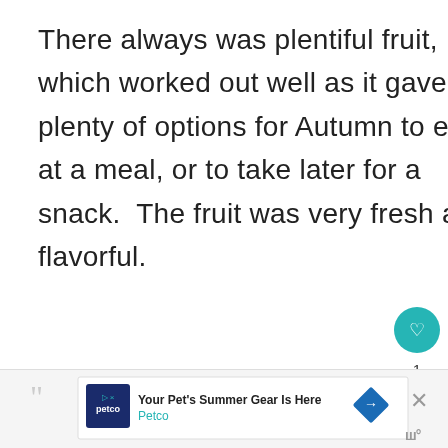There always was plentiful fruit, which worked out well as it gave us plenty of options for Autumn to eat at a meal, or to take later for a snack.  The fruit was very fresh and flavorful.
[Figure (screenshot): UI widget panel on right side: teal heart/like button, count '1', share button with share icon]
[Figure (screenshot): What's Next promo panel: circular thumbnail of person, 'WHAT'S NEXT →' label in teal, 'Our 2015 Vision of the...' title]
[Figure (screenshot): Petco advertisement banner: Petco logo, 'Your Pet's Summer Gear Is Here', 'Petco' in teal, blue diamond arrow icon, X close button]